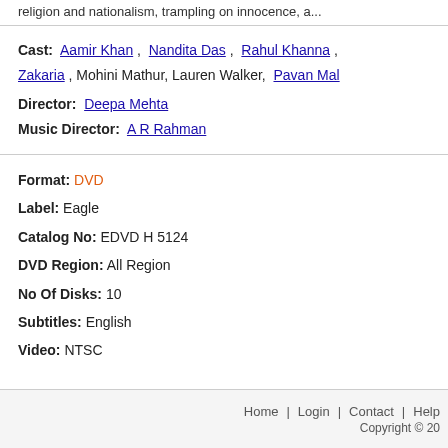religion and nationalism, trampling on innocence, a...
Cast: Aamir Khan , Nandita Das , Rahul Khanna , ... Zakaria , Mohini Mathur, Lauren Walker, Pavan Ma...
Director: Deepa Mehta
Music Director: A R Rahman
Format: DVD
Label: Eagle
Catalog No: EDVD H 5124
DVD Region: All Region
No Of Disks: 10
Subtitles: English
Video: NTSC
Home | Login | Contact | Help    Copyright © 20...